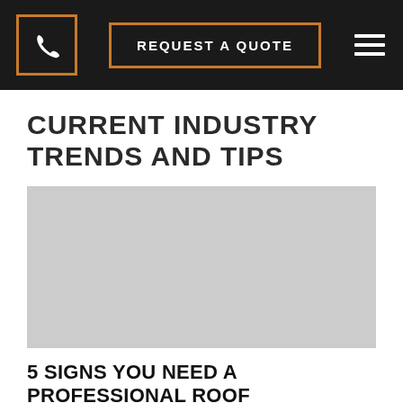REQUEST A QUOTE
CURRENT INDUSTRY TRENDS AND TIPS
[Figure (photo): Placeholder image area, light gray rectangle]
5 SIGNS YOU NEED A PROFESSIONAL ROOF REPLACEMENT